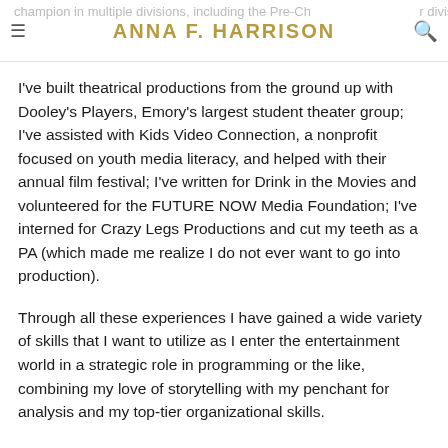ANNA F. HARRISON
I've built theatrical productions from the ground up with Dooley's Players, Emory's largest student theater group; I've assisted with Kids Video Connection, a nonprofit focused on youth media literacy, and helped with their annual film festival; I've written for Drink in the Movies and volunteered for the FUTURE NOW Media Foundation; I've interned for Crazy Legs Productions and cut my teeth as a PA (which made me realize I do not ever want to go into production).
Through all these experiences I have gained a wide variety of skills that I want to utilize as I enter the entertainment world in a strategic role in programming or the like, combining my love of storytelling with my penchant for analysis and my top-tier organizational skills.